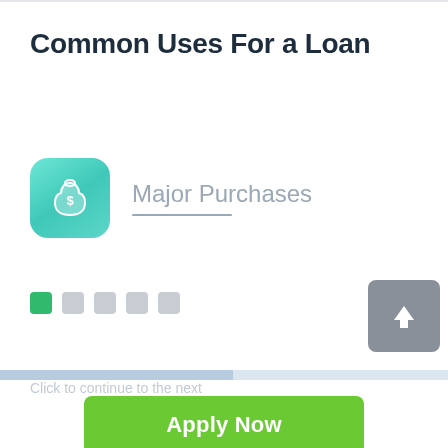Common Uses For a Loan
[Figure (illustration): Teal/green rounded square icon with a money bag (dollar sign) symbol in white]
Major Purchases
[Figure (infographic): Five rounded square pagination dots: first one green (active), remaining four gray (inactive)]
[Figure (infographic): Gray rounded square button with white upward arrow]
[Figure (other): Horizontal progress bar, partially filled (approximately 52%) in blue-gray]
Apply Now
Applying does NOT affect your credit score! No credit check to apply.